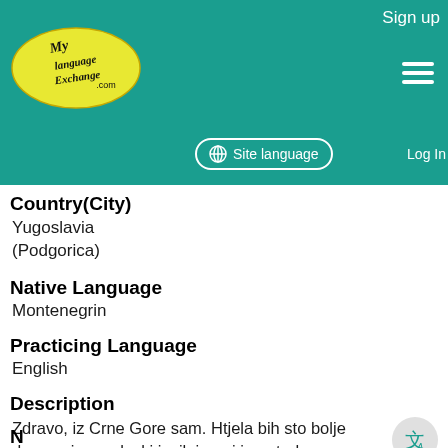Sign up | Site language | Log In
[Figure (logo): MyLanguageExchange.com logo — yellow oval with cursive text]
Country(City)
Yugoslavia (Podgorica)
Native Language
Montenegrin
Practicing Language
English
Description
Zdravo, iz Crne Gore sam. Htjela bih sto bolje da naucim engleski jezik jer mi je potreban konverzacijski nivo, a moje znanje je na osnovnom nivou. Hello, I'm from Montenegro. I would like do learn English, because I need conversation level. Now, my English is on basic level.
N...